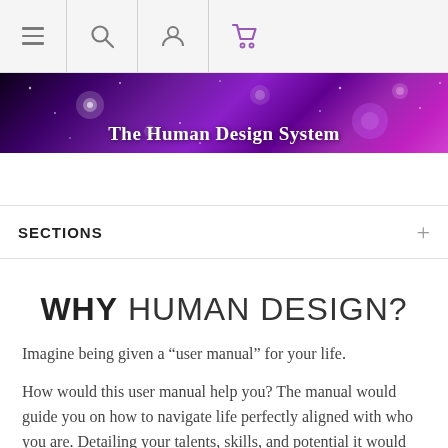Navigation bar with menu, search, user, and cart icons
[Figure (illustration): Purple galaxy/space hero banner with text 'The Human Design System']
SECTIONS
WHY HUMAN DESIGN?
Imagine being given a “user manual” for your life.
How would this user manual help you? The manual would guide you on how to navigate life perfectly aligned with who you are. Detailing your talents, skills, and potential it would give you a map for actualizing these. It would help you understand how you are